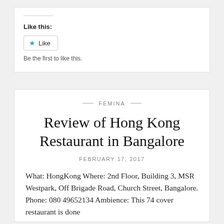Like this:
Like
Be the first to like this.
— FEMINA —
Review of Hong Kong Restaurant in Bangalore
FEBRUARY 17, 2017
What: HongKong Where: 2nd Floor, Building 3, MSR Westpark, Off Brigade Road, Church Street, Bangalore. Phone: 080 49652134 Ambience: This 74 cover restaurant is done